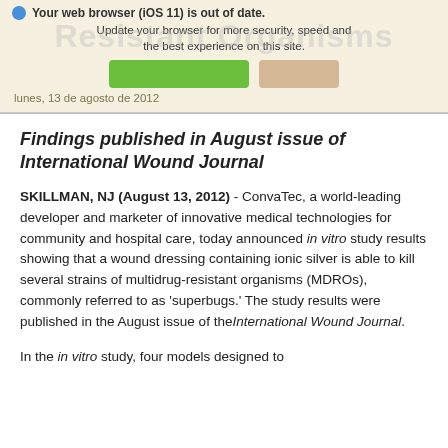[Figure (screenshot): Browser update notification banner with icon, text 'Your web browser (iOS 11) is out of date. Update your browser for more security, speed and the best experience on this site.' with a green button and a tan/beige button, and watermark text 'Resistant Organisms' in background]
lunes, 13 de agosto de 2012
Findings published in August issue of International Wound Journal
SKILLMAN, NJ (August 13, 2012) - ConvaTec, a world-leading developer and marketer of innovative medical technologies for community and hospital care, today announced in vitro study results showing that a wound dressing containing ionic silver is able to kill several strains of multidrug-resistant organisms (MDROs), commonly referred to as 'superbugs.' The study results were published in the August issue of the International Wound Journal.
In the in vitro study, four models designed to